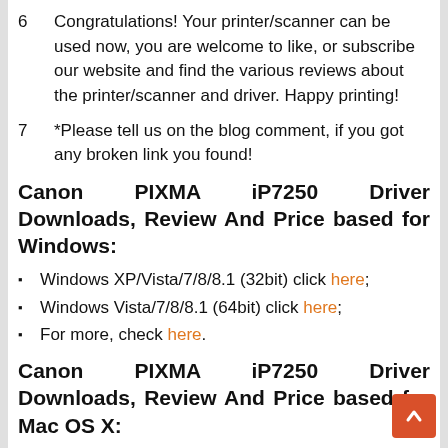6   Congratulations! Your printer/scanner can be used now, you are welcome to like, or subscribe our website and find the various reviews about the printer/scanner and driver. Happy printing!
7   *Please tell us on the blog comment, if you got any broken link you found!
Canon PIXMA iP7250 Driver Downloads, Review And Price based for Windows:
Windows XP/Vista/7/8/8.1 (32bit) click here;
Windows Vista/7/8/8.1 (64bit) click here;
For more, check here.
Canon PIXMA iP7250 Driver Downloads, Review And Price based for Mac OS X:
OS X
10.7/10.8/10.9/10.10/10.11/10.12/10.13/10.14/10.1